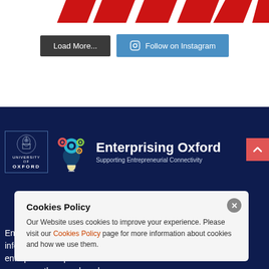[Figure (illustration): Partial view of red decorative shapes at top of page]
[Figure (screenshot): Two buttons: 'Load More...' (dark grey) and 'Follow on Instagram' (blue) with Instagram icon]
[Figure (logo): Enterprising Oxford logo on dark navy background: University of Oxford crest, colorful gears/lightbulb icon, text 'Enterprising Oxford - Supporting Entrepreneurial Connectivity']
Cookies Policy
Our Website uses cookies to improve your experience. Please visit our Cookies Policy page for more information about cookies and how we use them.
Enterprising Oxford information and entrepreneurship resources they need, and to